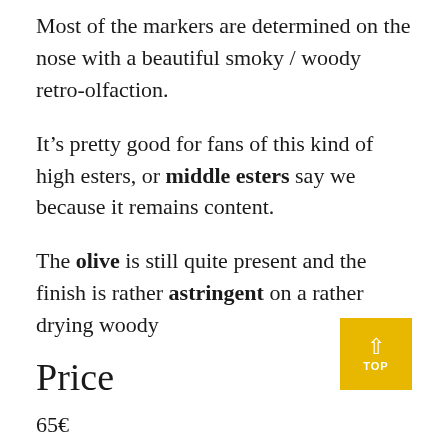Most of the markers are determined on the nose with a beautiful smoky / woody retro-olfaction.
It’s pretty good for fans of this kind of high esters, or middle esters say we because it remains content.
The olive is still quite present and the finish is rather astringent on a rather drying woody
Price
65€
Conclusion